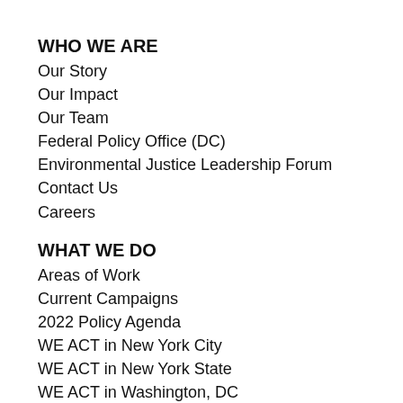WHO WE ARE
Our Story
Our Impact
Our Team
Federal Policy Office (DC)
Environmental Justice Leadership Forum
Contact Us
Careers
WHAT WE DO
Areas of Work
Current Campaigns
2022 Policy Agenda
WE ACT in New York City
WE ACT in New York State
WE ACT in Washington, DC
Environmental Health and Justice Leadership Training
Worker Training and Job Readiness Program
WE ACT Correspondence, Information & Updates